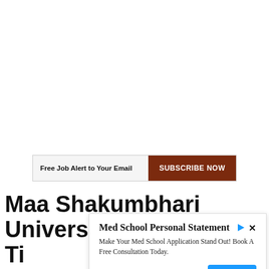[Figure (other): Subscribe bar banner: 'Free Job Alert to Your Email' with a brown 'SUBSCRIBE NOW' button]
Maa Shakumbhari University Ti...
[Figure (other): Ad overlay: Med School Personal Statement - Make Your Med School Application Stand Out! Book A Free Consultation Today. try.medschoolcoach.com [OPEN button]]